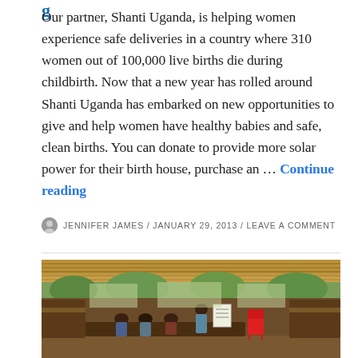Our partner, Shanti Uganda, is helping women experience safe deliveries in a country where 310 women out of 100,000 live births die during childbirth. Now that a new year has rolled around Shanti Uganda has embarked on new opportunities to give and help women have healthy babies and safe, clean births. You can donate to provide more solar power for their birth house, purchase an … Continue reading
JENNIFER JAMES / JANUARY 29, 2013 / LEAVE A COMMENT
[Figure (photo): Indoor photo of a thatched-roof open-air structure with people seated on benches. A presenter stands holding a chart/poster. A red plastic chair is visible. Green trees visible through open walls in background.]